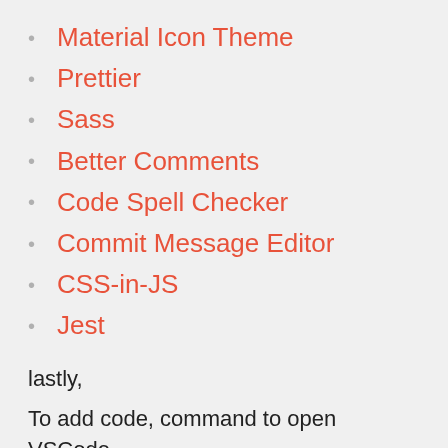Material Icon Theme
Prettier
Sass
Better Comments
Code Spell Checker
Commit Message Editor
CSS-in-JS
Jest
lastly,
To add code, command to open VSCode